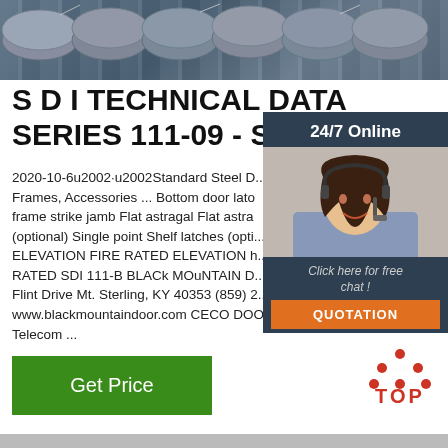[Figure (photo): Close-up photo of steel rods or rebar, gray metallic cylindrical bars bundled together]
S D I TECHNICAL DATA SERIES 111-09 - Steel
2020-10-6u2002·u2002Standard Steel D... Frames, Accessories ... Bottom door lato frame strike jamb Flat astragal Flat astra (optional) Single point Shelf latches (opti... ELEVATION FIRE RATED ELEVATION h... RATED SDI 111-B BLACk MOuNTAIN D... Flint Drive Mt. Sterling, KY 40353 (859)... www.blackmountaindoor.com CECO DOOR 9155 Telecom ...
[Figure (photo): Customer service overlay panel showing 24/7 Online text, a smiling woman with headset, Click here for free chat text, and a QUOTATION orange button]
[Figure (logo): TOP logo with red dots forming a triangle above the word TOP in red]
Get Price